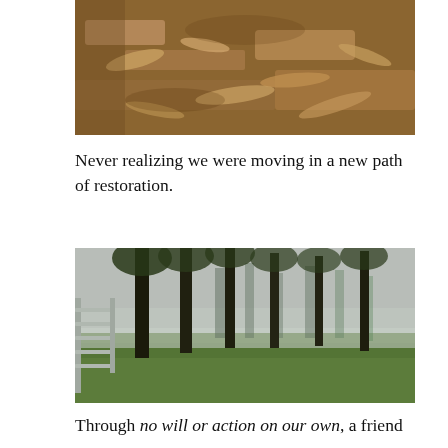[Figure (photo): Close-up photograph of dry soil and fragmented organic matter, leaves and debris on ground]
Never realizing we were moving in a new path of restoration.
[Figure (photo): Misty pasture scene with tall trees and green grass, a metal gate visible on the left side]
Through no will or action on our own, a friend